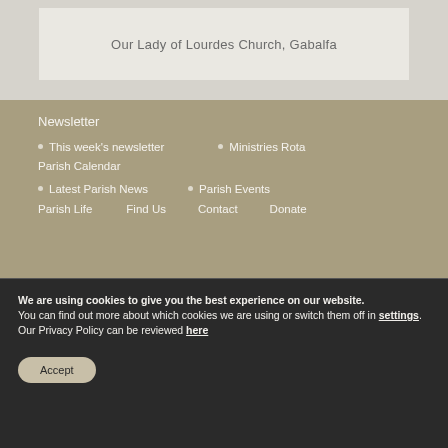[Figure (map): Map showing location of Our Lady of Lourdes Church, Gabalfa]
Our Lady of Lourdes Church, Gabalfa
Newsletter
This week's newsletter
Ministries Rota
Parish Calendar
Latest Parish News
Parish Events
Parish Life
Find Us
Contact
Donate
We are using cookies to give you the best experience on our website.
You can find out more about which cookies we are using or switch them off in settings. Our Privacy Policy can be reviewed here
Accept